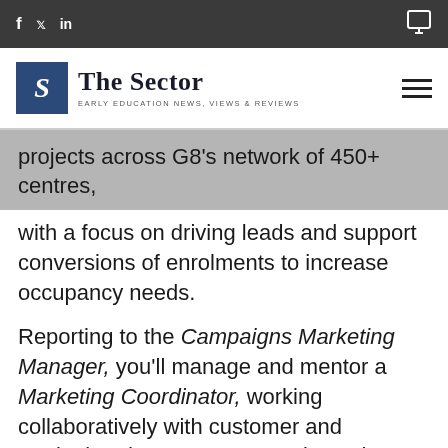f  y  in  [chat icon]
[Figure (logo): The Sector logo — blue square with italic S, text 'The Sector' and tagline 'EARLY EDUCATION NEWS, VIEWS & REVIEWS']
projects across G8's network of 450+ centres, with a focus on driving leads and support conversions of enrolments to increase occupancy needs.
Reporting to the Campaigns Marketing Manager, you'll manage and mentor a Marketing Coordinator, working collaboratively with customer and marketing departments to activate the strategy, and supporting the delivery of all marketing campaigns across your key project areas.